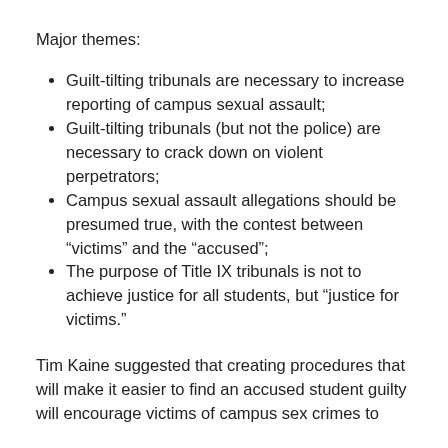Major themes:
Guilt-tilting tribunals are necessary to increase reporting of campus sexual assault;
Guilt-tilting tribunals (but not the police) are necessary to crack down on violent perpetrators;
Campus sexual assault allegations should be presumed true, with the contest between “victims” and the “accused”;
The purpose of Title IX tribunals is not to achieve justice for all students, but “justice for victims.”
Tim Kaine suggested that creating procedures that will make it easier to find an accused student guilty will encourage victims of campus sex crimes to